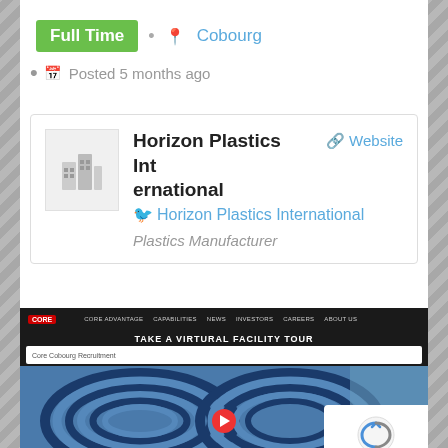Full Time · Cobourg
Posted 5 months ago
Horizon Plastics International
Website  Horizon Plastics International
Plastics Manufacturer
[Figure (screenshot): Screenshot of a company website showing a virtual facility tour page with blue coiled rings/tubes and a YouTube video embed. Navigation bar shows: CORE ADVANTAGE, CAPABILITIES, NEWS, INVESTORS, CAREERS, ABOUT US. Title reads TAKE A VIRTURAL FACILITY TOUR. A Google reCAPTCHA Privacy/Terms badge is visible in the lower right.]